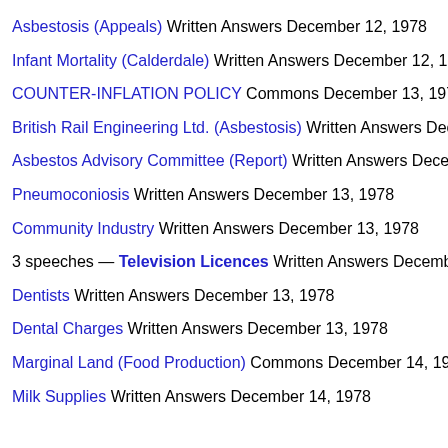Asbestosis (Appeals) Written Answers December 12, 1978
Infant Mortality (Calderdale) Written Answers December 12, 19...
COUNTER-INFLATION POLICY Commons December 13, 197...
British Rail Engineering Ltd. (Asbestosis) Written Answers Dec...
Asbestos Advisory Committee (Report) Written Answers Decer...
Pneumoconiosis Written Answers December 13, 1978
Community Industry Written Answers December 13, 1978
3 speeches — Television Licences Written Answers Decemb...
Dentists Written Answers December 13, 1978
Dental Charges Written Answers December 13, 1978
Marginal Land (Food Production) Commons December 14, 19...
Milk Supplies Written Answers December 14, 1978